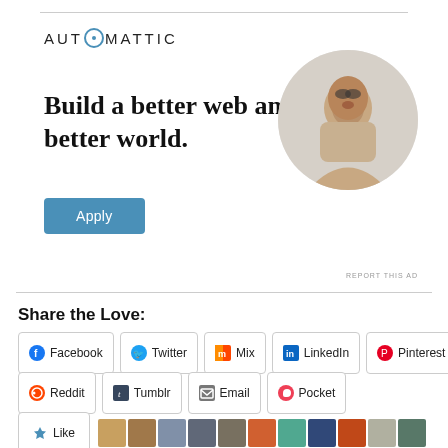[Figure (logo): Automattic logo with stylized O]
Build a better web and a better world.
[Figure (photo): Circular portrait photo of a man looking up thoughtfully, resting chin on hand]
REPORT THIS AD
Share the Love:
Facebook  Twitter  Mix  LinkedIn  Pinterest  Reddit  Tumblr  Email  Pocket
[Figure (other): Like button and avatar strip of follower profile photos]